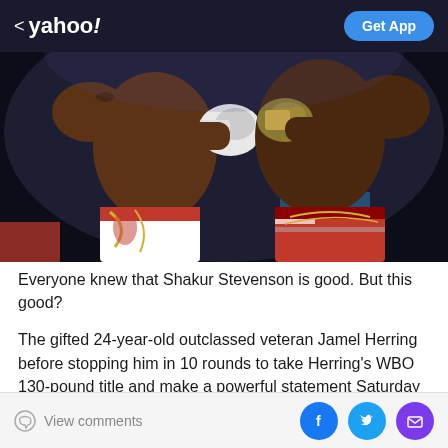< yahoo!   Get App
[Figure (photo): Two boxers in action during a fight, one landing a punch on the other. Left boxer wears white shorts with red and gold dragon design, right boxer wears red white and blue American flag themed shorts. Both wear boxing gloves. Dark arena background.]
Everyone knew that Shakur Stevenson is good. But this good?
The gifted 24-year-old outclassed veteran Jamel Herring before stopping him in 10 rounds to take Herring's WBO 130-pound title and make a powerful statement Saturday
View comments